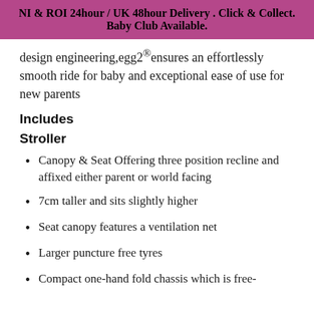NI & ROI 24hour / UK 48hour Delivery . Click & Collect. Baby Club Available.
design engineering,egg2® ensures an effortlessly smooth ride for baby and exceptional ease of use for new parents
Includes
Stroller
Canopy & Seat Offering three position recline and affixed either parent or world facing
7cm taller and sits slightly higher
Seat canopy features a ventilation net
Larger puncture free tyres
Compact one-hand fold chassis which is free-